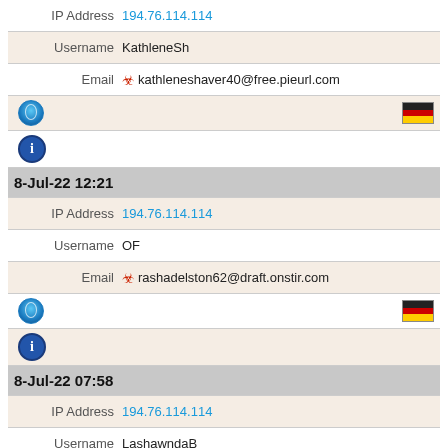| IP Address | 194.76.114.114 |
| Username | KathleneSh |
| Email | kathleneshaver40@free.pieurl.com |
| [globe icon] | [DE flag] |
| [tor icon] |  |
| 8-Jul-22 12:21 |  |
| IP Address | 194.76.114.114 |
| Username | OF |
| Email | rashadelston62@draft.onstir.com |
| [globe icon] | [DE flag] |
| [tor icon] |  |
| 8-Jul-22 07:58 |  |
| IP Address | 194.76.114.114 |
| Username | LashawndaB |
| Email | madieheath@partcafe.com |
| [globe icon] | [DE flag] |
| [tor icon] |  |